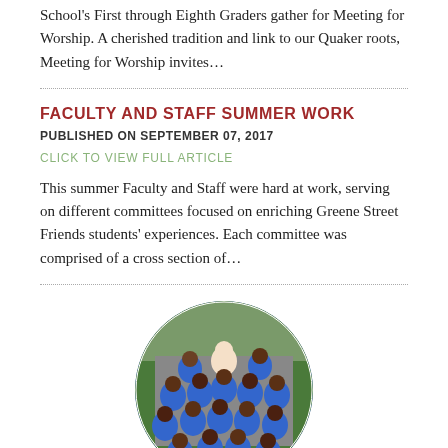School's First through Eighth Graders gather for Meeting for Worship. A cherished tradition and link to our Quaker roots, Meeting for Worship invites…
FACULTY AND STAFF SUMMER WORK
PUBLISHED ON SEPTEMBER 07, 2017
CLICK TO VIEW FULL ARTICLE
This summer Faculty and Staff were hard at work, serving on different committees focused on enriching Greene Street Friends students' experiences. Each committee was comprised of a cross section of…
[Figure (photo): Circular-cropped group photo of students and a teacher wearing blue shirts, posed on outdoor steps.]